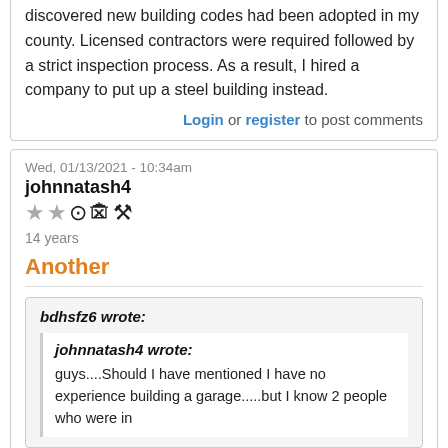I was planning to build a second garage in 2000 but discovered new building codes had been adopted in my county. Licensed contractors were required followed by a strict inspection process. As a result, I hired a company to put up a steel building instead.
Login or register to post comments
Wed, 01/13/2021 - 10:34am
johnnatash4
14 years
Another
bdhsfz6 wrote:
johnnatash4 wrote:
guys....Should I have mentioned I have no experience building a garage.....but I know 2 people who were in